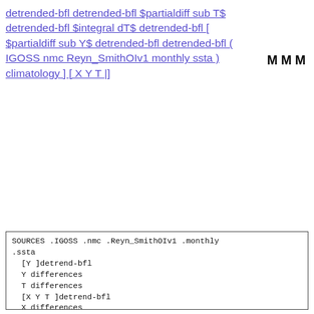detrended-bfl detrended-bfl $partialdiff sub T$ detrended-bfl $integral dT$ detrended-bfl [ $partialdiff sub Y$ detrended-bfl detrended-bfl ( IGOSS nmc Reyn_SmithOIv1 monthly ssta ) climatology ] [ X Y T |]   M M M
SOURCES .IGOSS .nmc .Reyn_SmithOIv1 .monthly .ssta
  [Y ]detrend-bfl
  Y differences
  T differences
  [X Y T ]detrend-bfl
  X differences
  Y partial
  yearly-climatology
  [X T ]detrend-bfl
  T integral
  [X Y T ]detrend-bfl
  T partial
  [T ]detrend-bfl
  T differences
  [T ]detrend-bfl
  [X Y ]detrend-bfl
  [Y ]detrend-bfl